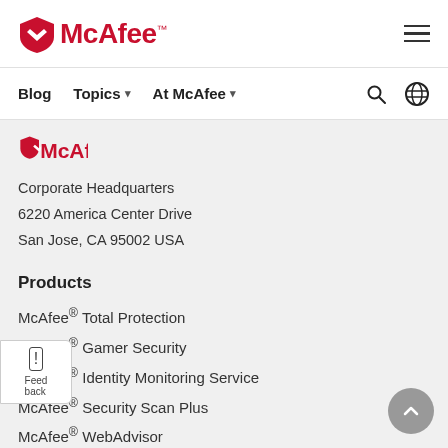[Figure (logo): McAfee logo with red shield icon and red McAfee text with TM mark]
Blog  Topics  At McAfee
[Figure (logo): Partial McAfee logo (cropped) in red at top of gray content area]
Corporate Headquarters
6220 America Center Drive
San Jose, CA 95002 USA
Products
McAfee® Total Protection
McAfee® Gamer Security
McAfee® Identity Monitoring Service
McAfee® Security Scan Plus
McAfee® WebAdvisor
McAfee® Techmaster Concierge